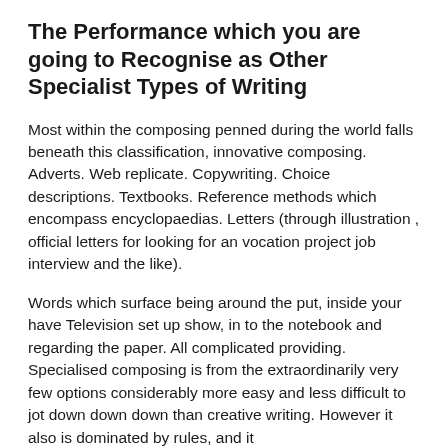The Performance which you are going to Recognise as Other Specialist Types of Writing
Most within the composing penned during the world falls beneath this classification, innovative composing. Adverts. Web replicate. Copywriting. Choice descriptions. Textbooks. Reference methods which encompass encyclopaedias. Letters (through illustration , official letters for looking for an vocation project job interview and the like).
Words which surface being around the put, inside your have Television set up show, in to the notebook and regarding the paper. All complicated providing. Specialised composing is from the extraordinarily very few options considerably more easy and less difficult to jot down down down than creative writing. However it also is dominated by rules, and it